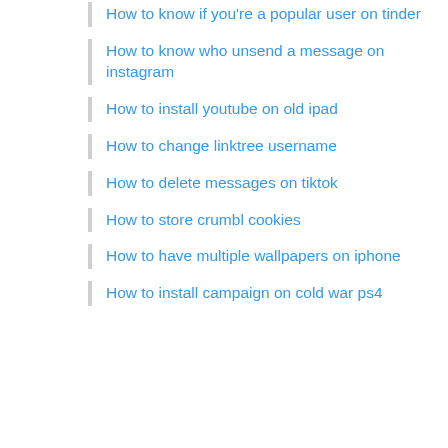How to know if you're a popular user on tinder
How to know who unsend a message on instagram
How to install youtube on old ipad
How to change linktree username
How to delete messages on tiktok
How to store crumbl cookies
How to have multiple wallpapers on iphone
How to install campaign on cold war ps4